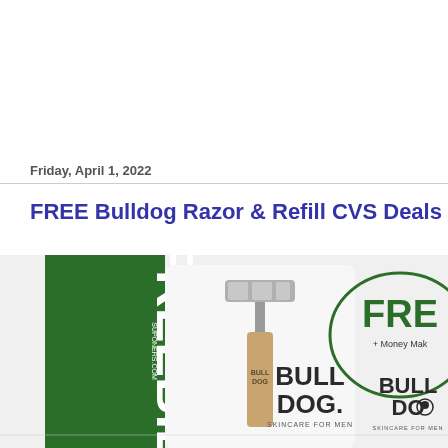Friday, April 1, 2022
FREE Bulldog Razor & Refill CVS Deals
[Figure (photo): Promotional image showing a Bulldog Skincare for Men razor in packaging with a 'FREEBIE' green banner on the left and an oval 'FREE + Money Maker' badge with Bulldog logo on the right]